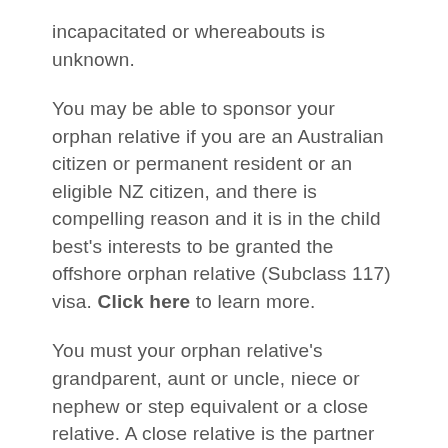incapacitated or whereabouts is unknown.
You may be able to sponsor your orphan relative if you are an Australian citizen or permanent resident or an eligible NZ citizen, and there is compelling reason and it is in the child best's interests to be granted the offshore orphan relative (Subclass 117) visa. Click here to learn more.
You must your orphan relative's grandparent, aunt or uncle, niece or nephew or step equivalent or a close relative. A close relative is the partner (spouse or de facto partner) or child, parent, sibling or step equivalent.
Sponsor must be over 18 and have been living in